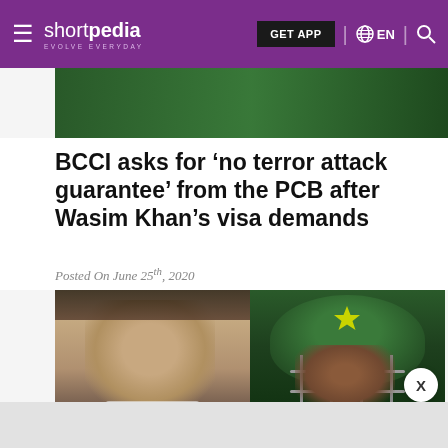shortpedia EVOLVE EVERYDAY | GET APP | EN
[Figure (photo): Green Pakistan cricket jersey with star, partial top image strip]
BCCI asks for ‘no terror attack guarantee’ from the PCB after Wasim Khan’s visa demands
Posted On June 25th, 2020
[Figure (photo): Side-by-side photos: left shows a man in formal attire (Wasim Khan), right shows a cricket player wearing a green Pakistan helmet]
X